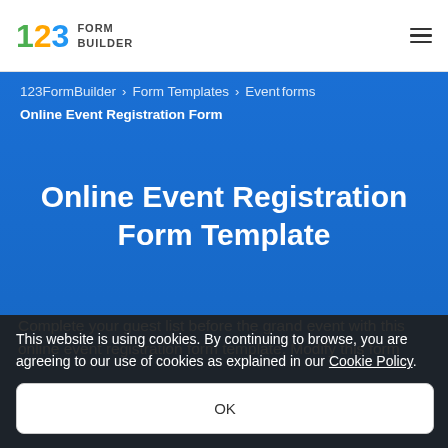123 FORM BUILDER
123FormBuilder › Form Templates › Event forms Online Event Registration Form
Online Event Registration Form Template
Complete your guest list before the grand event with this online event registration form template. Modify this form
This website is using cookies. By continuing to browse, you are agreeing to our use of cookies as explained in our Cookie Policy.
OK